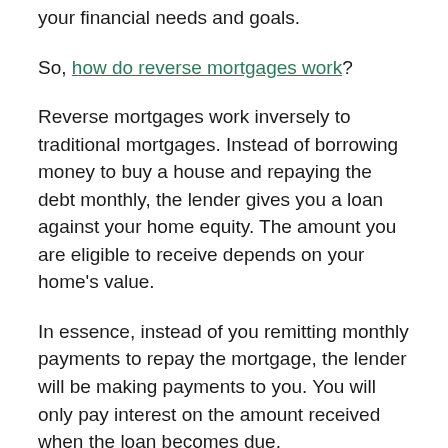your financial needs and goals.
So, how do reverse mortgages work?
Reverse mortgages work inversely to traditional mortgages. Instead of borrowing money to buy a house and repaying the debt monthly, the lender gives you a loan against your home equity. The amount you are eligible to receive depends on your home's value.
In essence, instead of you remitting monthly payments to repay the mortgage, the lender will be making payments to you. You will only pay interest on the amount received when the loan becomes due.
To apply for a reverse mortgage, you must be a homeowner with the home you are borrowing the